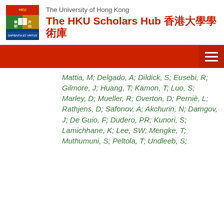The University of Hong Kong
The HKU Scholars Hub 香港大學學術庫
Mattia, M; Delgado, A; Dildick, S; Eusebi, R; Gilmore, J; Huang, T; Kamon, T; Luo, S; Marley, D; Mueller, R; Overton, D; Perniè, L; Rathjens, D; Safonov, A; Akchurin, N; Damgov, J; De Guio, F; Dudero, PR; Kunori, S; Lamichhane, K; Lee, SW; Mengke, T; Muthumuni, S; Peltola, T; Undleeb, S; ...